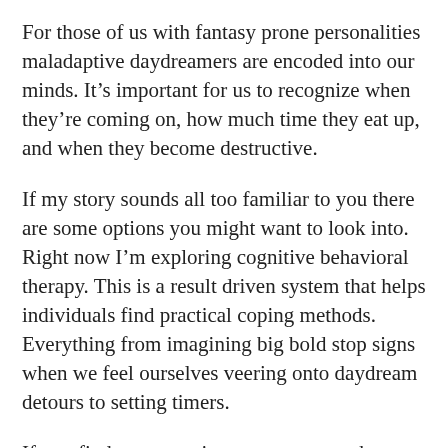For those of us with fantasy prone personalities maladaptive daydreamers are encoded into our minds. It’s important for us to recognize when they’re coming on, how much time they eat up, and when they become destructive.
If my story sounds all too familiar to you there are some options you might want to look into. Right now I’m exploring cognitive behavioral therapy. This is a result driven system that helps individuals find practical coping methods. Everything from imagining big bold stop signs when we feel ourselves veering onto daydream detours to setting timers.
If you find your creative energy spent when you approach your writing consider structuring your story in advance. It’s harder to get stuck when you already know how one scene flows into the other. I know I prefer to write by the seat of my pants and discover things as I go along, but when I’m down in the dumps I find myself structuring a lot more.